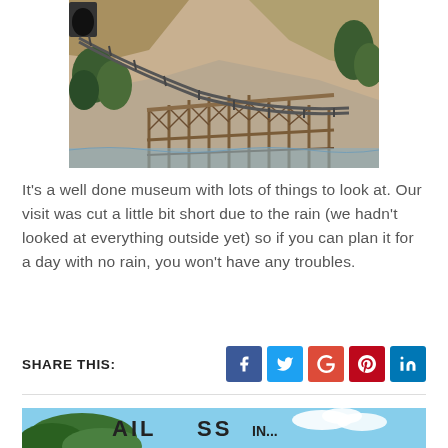[Figure (photo): Aerial view of a model railroad wooden trestle bridge with tracks curving around a rocky canyon with trees and a stream below]
It's a well done museum with lots of things to look at. Our visit was cut a little bit short due to the rain (we hadn't looked at everything outside yet) so if you can plan it for a day with no rain, you won't have any troubles.
SHARE THIS:
[Figure (photo): Partial view of a railroad crossing sign against a blue sky with green foliage, showing partial text 'AIL CROSSING']